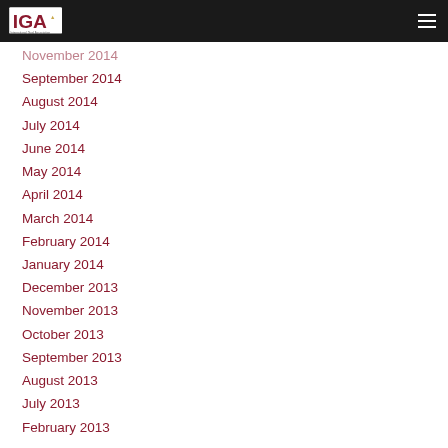IGA - International Goal Association
November 2014
September 2014
August 2014
July 2014
June 2014
May 2014
April 2014
March 2014
February 2014
January 2014
December 2013
November 2013
October 2013
September 2013
August 2013
July 2013
February 2013